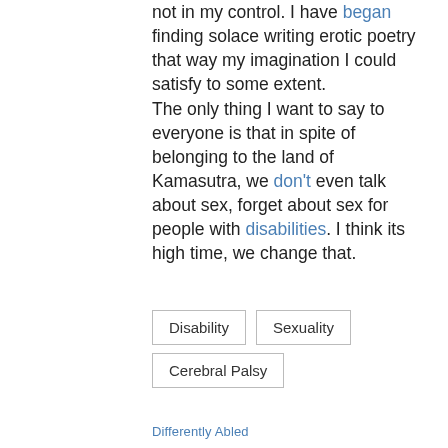not in my control. I have began finding solace writing erotic poetry that way my imagination I could satisfy to some extent. The only thing I want to say to everyone is that in spite of belonging to the land of Kamasutra, we don't even talk about sex, forget about sex for people with disabilities. I think its high time, we change that.
Disability
Sexuality
Cerebral Palsy
Differently Abled